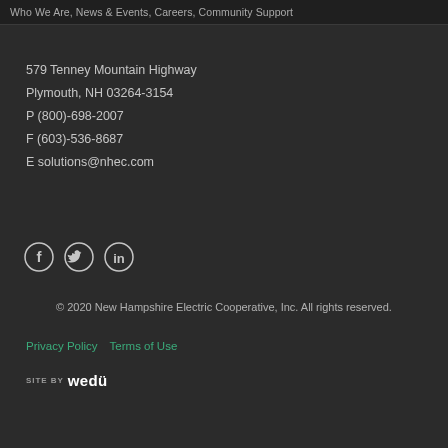Who We Are, News & Events, Careers, Community Support
579 Tenney Mountain Highway
Plymouth, NH 03264-3154
P (800)-698-2007
F (603)-536-8687
E solutions@nhec.com
[Figure (illustration): Social media icons: Facebook, Twitter, LinkedIn]
© 2020 New Hampshire Electric Cooperative, Inc. All rights reserved.
Privacy Policy   Terms of Use
SITE BY wedü